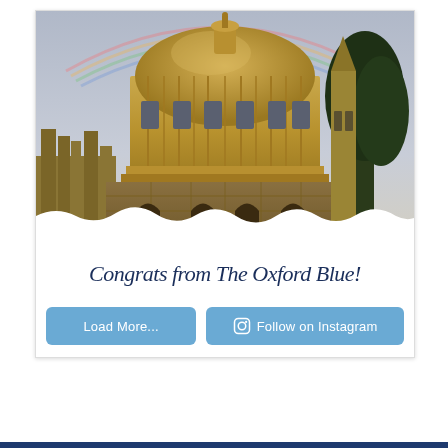[Figure (photo): Photo of the Radcliffe Camera, Oxford, with a rainbow visible above the golden stone dome. Trees visible on the right. Dramatic cloudy sky.]
Congrats from The Oxford Blue!
Load More...
Follow on Instagram